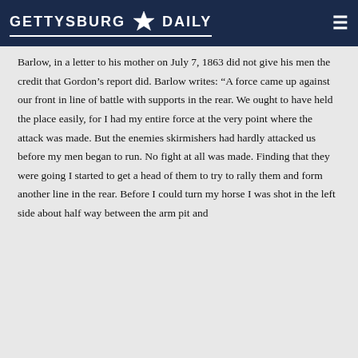GETTYSBURG DAILY
Barlow, in a letter to his mother on July 7, 1863 did not give his men the credit that Gordon’s report did. Barlow writes: “A force came up against our front in line of battle with supports in the rear. We ought to have held the place easily, for I had my entire force at the very point where the attack was made. But the enemies skirmishers had hardly attacked us before my men began to run. No fight at all was made. Finding that they were going I started to get a head of them to try to rally them and form another line in the rear. Before I could turn my horse I was shot in the left side about half way between the arm pit and